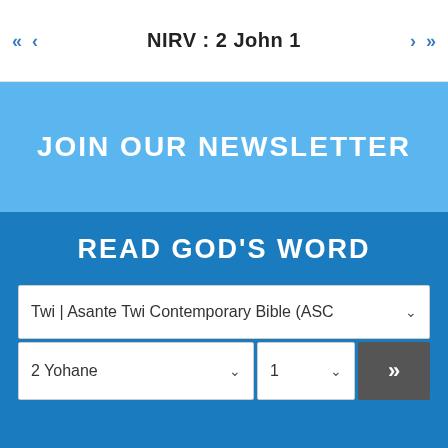NIRV : 2 John 1
JOIN OUR NEWSLETTER
READ GOD'S WORD
Twi | Asante Twi Contemporary Bible (ASC
2 Yohane
1